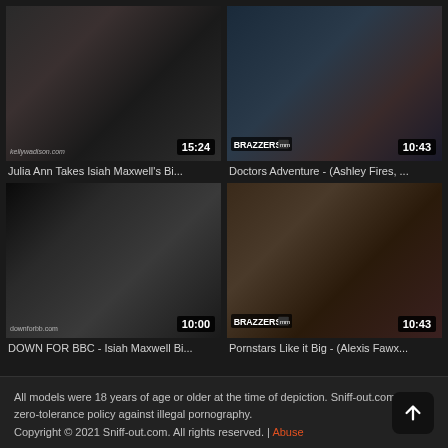[Figure (screenshot): Video thumbnail for Julia Ann Takes Isiah Maxwell's Bi... with duration 15:24, watermark kellywadison.com]
Julia Ann Takes Isiah Maxwell's Bi...
[Figure (screenshot): Video thumbnail for Doctors Adventure - (Ashley Fires, ... with Brazzers logo and duration 10:43]
Doctors Adventure - (Ashley Fires, ...
[Figure (screenshot): Video thumbnail for DOWN FOR BBC - Isiah Maxwell Bi... with duration 10:00, watermark downforbb.com]
DOWN FOR BBC - Isiah Maxwell Bi...
[Figure (screenshot): Video thumbnail for Pornstars Like it Big - (Alexis Fawx... with Brazzers logo and duration 10:43]
Pornstars Like it Big - (Alexis Fawx...
All models were 18 years of age or older at the time of depiction. Sniff-out.com has a zero-tolerance policy against illegal pornography.
Copyright © 2021 Sniff-out.com. All rights reserved. | Abuse